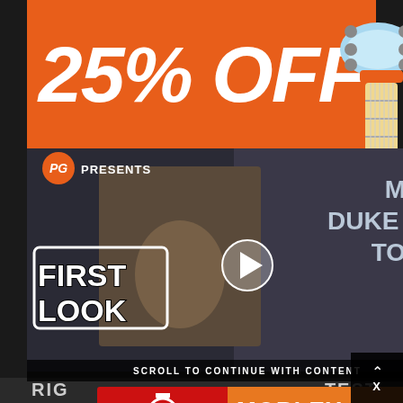[Figure (infographic): Orange promotional banner showing '25% OFF' in large bold white italic text on orange background]
[Figure (illustration): Guitar illustration (headstock and fretboard) in light blue and orange cartoon style on the right side]
[Figure (screenshot): Video thumbnail from Premier Guitar: 'PG Presents' with logo, person holding guitar, 'FIRST LOOK' badge overlay, 'MXR DUKE OF TONE' text, play button in center, dark film-strip style background]
SCROLL TO CONTINUE WITH CONTENT
[Figure (infographic): Guitar Center advertisement banner featuring Guitar Center logo on red background and 'MORLEY 20/20 BAD HORSIE' text on orange background]
RIG
TEST